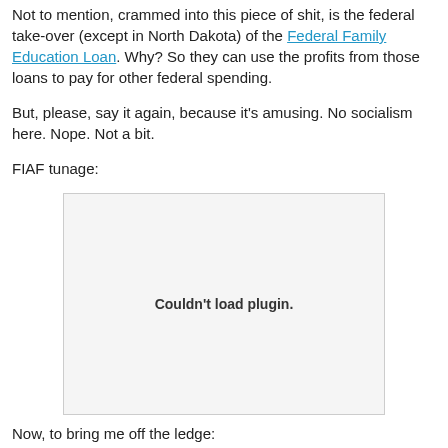Not to mention, crammed into this piece of shit, is the federal take-over (except in North Dakota) of the Federal Family Education Loan. Why? So they can use the profits from those loans to pay for other federal spending.
But, please, say it again, because it's amusing. No socialism here. Nope. Not a bit.
FIAF tunage:
[Figure (other): Embedded media plugin placeholder showing 'Couldn't load plugin.' message]
Now, to bring me off the ledge: